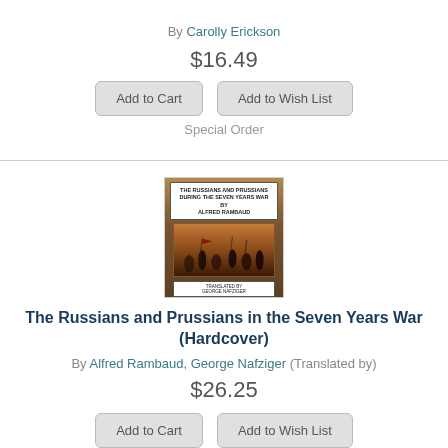By Carolly Erickson
$16.49
Add to Cart
Add to Wish List
Special Order
[Figure (illustration): Preorder diagonal banner in dark blue with white cursive text 'Preorder']
[Figure (photo): Book cover of 'The Russians and Prussians During the Seven Years War' by Alfred Rambaud, showing a battle scene]
The Russians and Prussians in the Seven Years War (Hardcover)
By Alfred Rambaud, George Nafziger (Translated by)
$26.25
Add to Cart
Add to Wish List